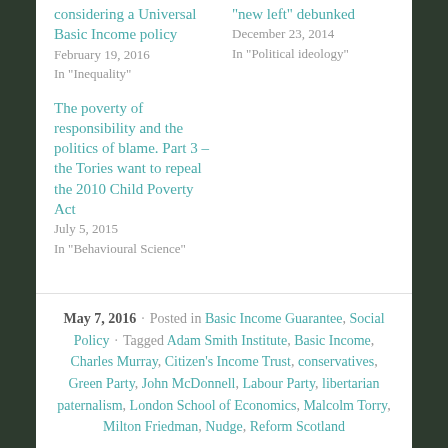considering a Universal Basic Income policy
February 19, 2016
In "Inequality"
"new left" debunked
December 23, 2014
In "Political ideology"
The poverty of responsibility and the politics of blame. Part 3 – the Tories want to repeal the 2010 Child Poverty Act
July 5, 2015
In "Behavioural Science"
May 7, 2016 · Posted in Basic Income Guarantee, Social Policy · Tagged Adam Smith Institute, Basic Income, Charles Murray, Citizen's Income Trust, conservatives, Green Party, John McDonnell, Labour Party, libertarian paternalism, London School of Economics, Malcolm Torry, Milton Friedman, Nudge, Reform Scotland